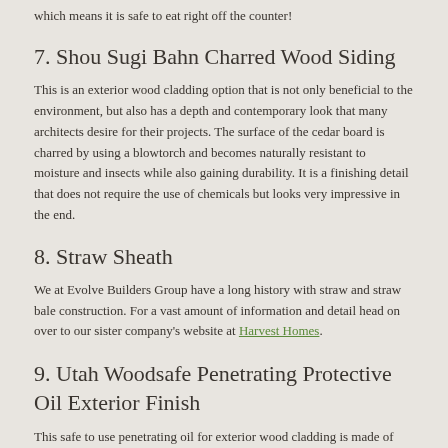which means it is safe to eat right off the counter!
7. Shou Sugi Bahn Charred Wood Siding
This is an exterior wood cladding option that is not only beneficial to the environment, but also has a depth and contemporary look that many architects desire for their projects. The surface of the cedar board is charred by using a blowtorch and becomes naturally resistant to moisture and insects while also gaining durability. It is a finishing detail that does not require the use of chemicals but looks very impressive in the end.
8. Straw Sheath
We at Evolve Builders Group have a long history with straw and straw bale construction. For a vast amount of information and detail head on over to our sister company's website at Harvest Homes.
9. Utah Woodsafe Penetrating Protective Oil Exterior Finish
This safe to use penetrating oil for exterior wood cladding is made of linseed oil, pine resin, and natural minerals like Gilsonite. It is a low VOC